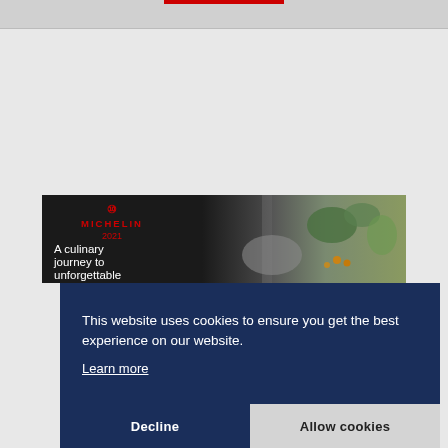[Figure (screenshot): Michelin Guide 2021 book cover showing 'A culinary journey to unforgettable nights' with food photography in black and white and color]
This website uses cookies to ensure you get the best experience on our website.
Learn more
Decline
Allow cookies